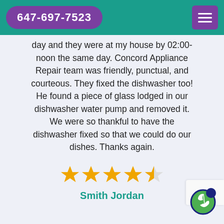647-697-7523
day and they were at my house by 02:00-noon the same day. Concord Appliance Repair team was friendly, punctual, and courteous. They fixed the dishwasher too! He found a piece of glass lodged in our dishwasher water pump and removed it. We were so thankful to have the dishwasher fixed so that we could do our dishes. Thanks again.
[Figure (other): 4.5 out of 5 stars rating — four full gold stars and one half gold star]
Smith Jordan